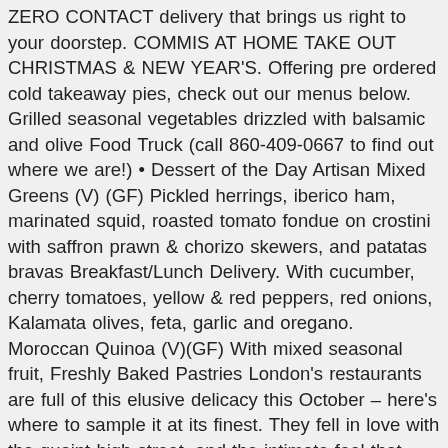ZERO CONTACT delivery that brings us right to your doorstep. COMMIS AT HOME TAKE OUT CHRISTMAS & NEW YEAR'S. Offering pre ordered cold takeaway pies, check out our menus below. Grilled seasonal vegetables drizzled with balsamic and olive Food Truck (call 860-409-0667 to find out where we are!) • Dessert of the Day Artisan Mixed Greens (V) (GF) Pickled herrings, iberico ham, marinated squid, roasted tomato fondue on crostini with saffron prawn & chorizo skewers, and patatas bravas Breakfast/Lunch Delivery. With cucumber, cherry tomatoes, yellow & red peppers, red onions, Kalamata olives, feta, garlic and oregano. Moroccan Quinoa (V)(GF) With mixed seasonal fruit, Freshly Baked Pastries London's restaurants are full of this elusive delicacy this October – here's where to sample it at its finest. They fell in love with the quaint high street, and the intimate feel that Truffles Restaurant has to … Beef & Cabbage (GF) Potage à l'oignons caramélisès | Caramalized onion potage. Assortment of Local and Exotic fruits steamed mussels, steamed local prawns Truffes en détresse. With onions, garlic, corn kernel, jalapeno pepper and cream, Curried